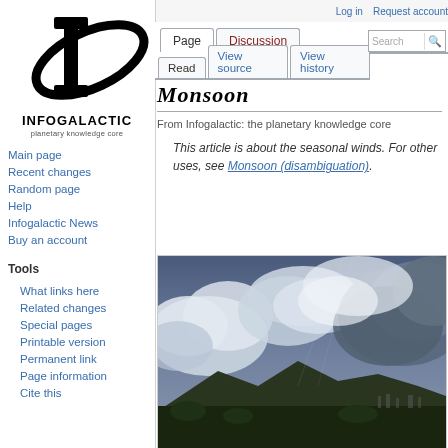Log in  Request account
[Figure (logo): Infogalactic logo - stylized letter I with oval ring, black and white]
INFOGALACTIC
planetary knowledge core
Main page
Recent changes
Random page
Help
Infogalactic News
Buy an account
Tools
What links here
Related changes
Special pages
Printable version
Permanent link
Page information
Monsoon
From Infogalactic: the planetary knowledge core
This article is about the seasonal winds. For other uses, see Monsoon (disambiguation).
[Figure (photo): Monsoon clouds over mountains and city, dramatic blue-gray storm clouds filling the sky above a mountain range with city visible at base]